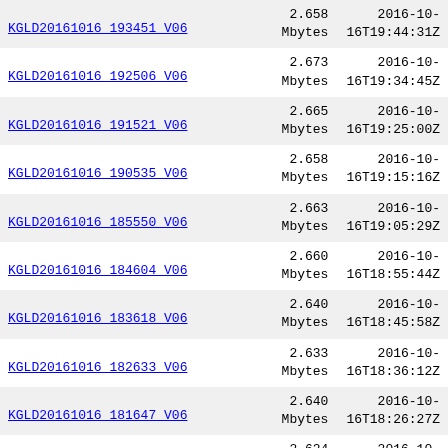| Filename | Size | Date |
| --- | --- | --- |
| KGLD20161016 193451 V06 | 2.658 Mbytes | 2016-10-16T19:44:31Z |
| KGLD20161016 192506 V06 | 2.673 Mbytes | 2016-10-16T19:34:45Z |
| KGLD20161016 191521 V06 | 2.665 Mbytes | 2016-10-16T19:25:00Z |
| KGLD20161016 190535 V06 | 2.658 Mbytes | 2016-10-16T19:15:16Z |
| KGLD20161016 185550 V06 | 2.663 Mbytes | 2016-10-16T19:05:29Z |
| KGLD20161016 184604 V06 | 2.660 Mbytes | 2016-10-16T18:55:44Z |
| KGLD20161016 183618 V06 | 2.640 Mbytes | 2016-10-16T18:45:58Z |
| KGLD20161016 182633 V06 | 2.633 Mbytes | 2016-10-16T18:36:12Z |
| KGLD20161016 181647 V06 | 2.640 Mbytes | 2016-10-16T18:26:27Z |
| KGLD20161016 180700 V06 | 2.624 Mbytes | 2016-10-16T18:16:41Z |
| KGLD20161016 175714 V06 | 2.643 Mbytes | 2016-10-16T18:06:54Z |
| KGLD20161016 174727 V06 | 2.594 Mbytes | 2016-10-16T17:57:07Z |